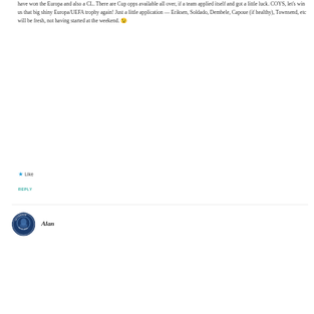have won the Europa and also a CL. There are Cup opps available all over, if a team applied itself and got a little luck. COYS, let's win us that big shiny Europa/UEFA trophy again! Just a little application — Eriksen, Soldado, Dembele, Capoue (if healthy), Townsend, etc will be fresh, not having started at the weekend. 😉
Like
REPLY
[Figure (logo): Tottenham On My Mind circular logo badge in dark blue]
Alan